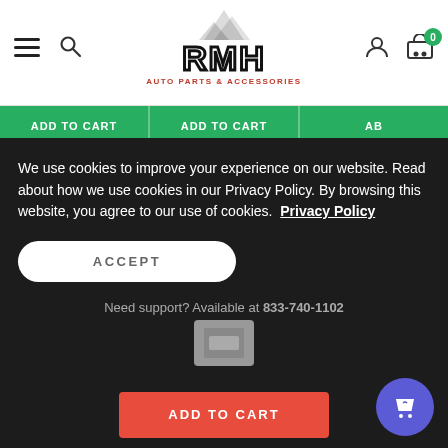[Figure (screenshot): RMH Auto Parts & Accessories website header with hamburger menu, search icon, RMH logo, user icon, and cart icon showing 0 items]
ADD TO CART
ADD TO CART
AB...
Thule
Transporter Combi Cargo Carrier 2 & 1.25 Rec.
$1,322.39
RMH Automotive Accessories
Rh Elec. Brake Assembly 12 X 2 7000Lb
$66.73
RMH Automotive Accessories
Lh Elec. Brake Assembly 12 X 2 7000Lb
$66.73
We use cookies to improve your experience on our website. Read about how we use cookies in our Privacy Policy. By browsing this website, you agree to our use of cookies.  Privacy Policy
ACCEPT
Need support? Available at 833-740-1102
ADD TO CART